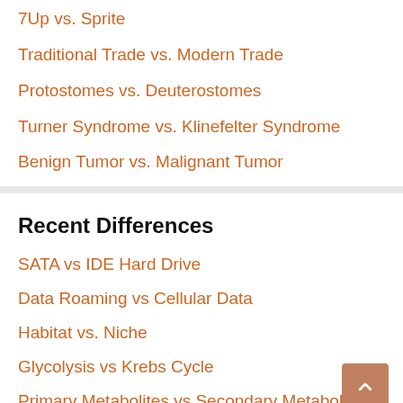7Up vs. Sprite
Traditional Trade vs. Modern Trade
Protostomes vs. Deuterostomes
Turner Syndrome vs. Klinefelter Syndrome
Benign Tumor vs. Malignant Tumor
Recent Differences
SATA vs IDE Hard Drive
Data Roaming vs Cellular Data
Habitat vs. Niche
Glycolysis vs Krebs Cycle
Primary Metabolites vs Secondary Metabolites